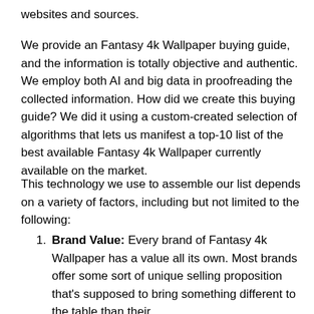websites and sources.
We provide an Fantasy 4k Wallpaper buying guide, and the information is totally objective and authentic. We employ both AI and big data in proofreading the collected information. How did we create this buying guide? We did it using a custom-created selection of algorithms that lets us manifest a top-10 list of the best available Fantasy 4k Wallpaper currently available on the market.
This technology we use to assemble our list depends on a variety of factors, including but not limited to the following:
Brand Value: Every brand of Fantasy 4k Wallpaper has a value all its own. Most brands offer some sort of unique selling proposition that's supposed to bring something different to the table than their competitors.